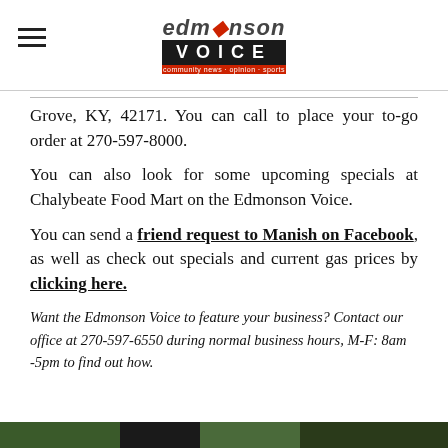Edmonson Voice
Grove, KY, 42171. You can call to place your to-go order at 270-597-8000.
You can also look for some upcoming specials at Chalybeate Food Mart on the Edmonson Voice.
You can send a friend request to Manish on Facebook, as well as check out specials and current gas prices by clicking here.
Want the Edmonson Voice to feature your business? Contact our office at 270-597-6550 during normal business hours, M-F: 8am -5pm to find out how.
[Figure (photo): Bottom strip showing a partial image cropped at the bottom of the page]